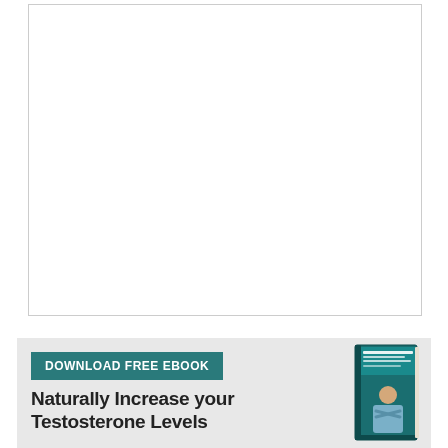[Figure (other): White empty box with light gray border]
[Figure (infographic): Advertisement banner: DOWNLOAD FREE EBOOK - Naturally Increase your Testosterone Levels, with book cover image on right showing a man]